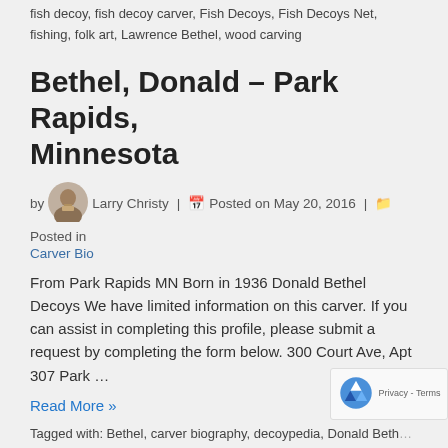fish decoy, fish decoy carver, Fish Decoys, Fish Decoys Net, fishing, folk art, Lawrence Bethel, wood carving
Bethel, Donald – Park Rapids, Minnesota
by Larry Christy | Posted on May 20, 2016 | Posted in Carver Bio
From Park Rapids MN Born in 1936 Donald Bethel Decoys We have limited information on this carver. If you can assist in completing this profile, please submit a request by completing the form below. 300 Court Ave, Apt 307 Park …
Read More »
Tagged with: Bethel, carver biography, decoypedia, Donald Beth… decoy carver, Fish Decoys Net, folk art, wood carving,